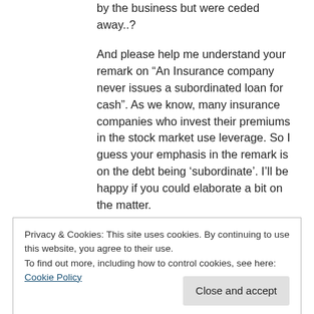by the business but were ceded away..?
And please help me understand your remark on “An Insurance company never issues a subordinated loan for cash”. As we know, many insurance companies who invest their premiums in the stock market use leverage. So I guess your emphasis in the remark is on the debt being ‘subordinate’. I’ll be happy if you could elaborate a bit on the matter.
Privacy & Cookies: This site uses cookies. By continuing to use this website, you agree to their use.
To find out more, including how to control cookies, see here: Cookie Policy
Kind regards